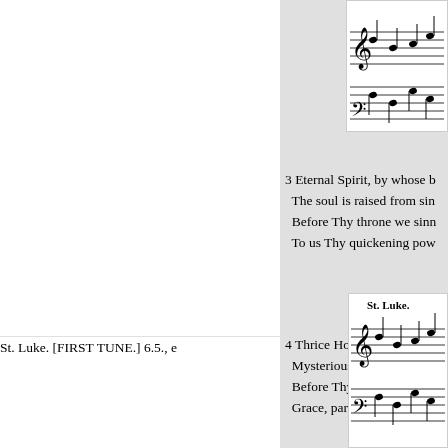[Figure (illustration): Sheet music notation at top right corner, partial view]
3 Eternal Spirit, by whose b
  The soul is raised from sin
  Before Thy throne we sinn
  To us Thy quickening pow
4 Thrice Holy Father, Spirit
  Mysterious Godhead! Thre
  Before Thy Throne we sina
  Grace, pardon, life to us ex
St. Luke. [FIRST TUNE.] 6.5., e
[Figure (illustration): Sheet music notation labeled St. Luke at bottom right]